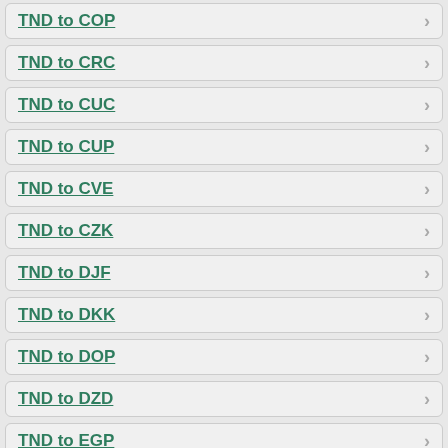TND to COP
TND to CRC
TND to CUC
TND to CUP
TND to CVE
TND to CZK
TND to DJF
TND to DKK
TND to DOP
TND to DZD
TND to EGP
TND to ERN